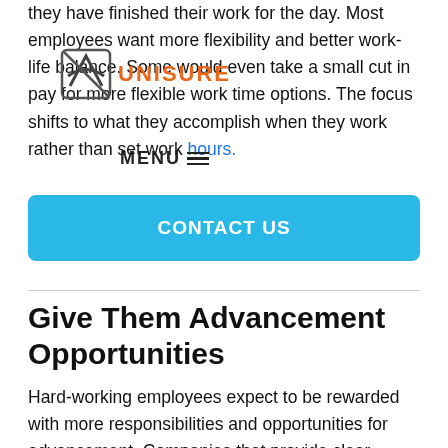they have finished their work for the day. Most employees want more flexibility and better work-life balance. Some would even take a small cut in pay for more flexible work time options. The focus shifts to what they accomplish when they work rather than set work hours.
[Figure (logo): Unisure logo with shield icon and orange text]
[Figure (other): MENU navigation bar with hamburger lines]
[Figure (other): CONTACT US blue button]
Give Them Advancement Opportunities
Hard-working employees expect to be rewarded with more responsibilities and opportunities for advancement. Companies that provide clear career paths can increase employee retention. Reward workers for